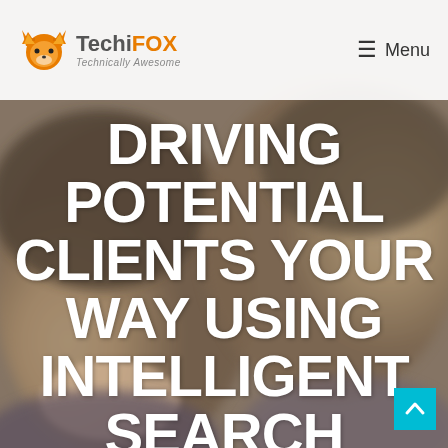[Figure (photo): Blurred background photo of two smiling men in close-up, serving as a hero image background for the TechiFOX website]
TechiFOX Technically Awesome | Menu
DRIVING POTENTIAL CLIENTS YOUR WAY USING INTELLIGENT SEARCH MARKETING CAMPAIGNS